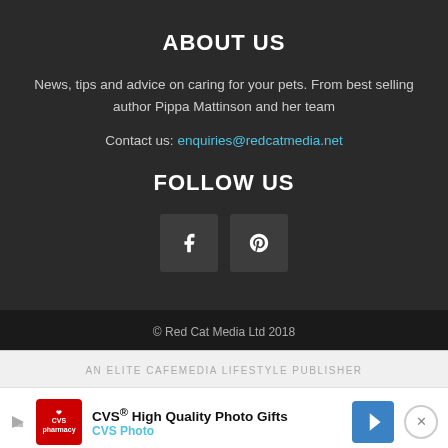ABOUT US
News, tips and advice on caring for your pets. From best selling author Pippa Mattinson and her team
Contact us: enquiries@redcatmedia.net
FOLLOW US
[Figure (other): Facebook and Pinterest social media icon buttons]
© Red Cat Media Ltd 2018
AN ELITE CAFEMEDIA LIFESTYLE PUBLISHER
[Figure (screenshot): CVS advertisement: CVS® High Quality Photo Gifts / CVS Photo]